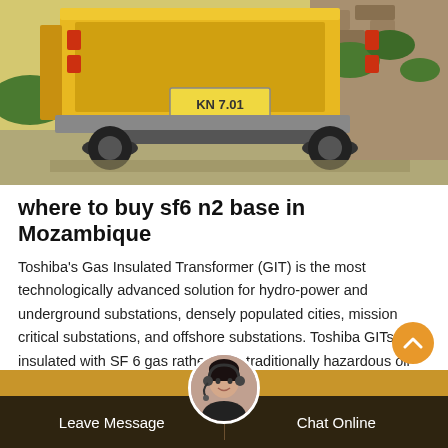[Figure (photo): Rear view of a yellow truck on a road with rocky terrain and greenery in the background]
where to buy sf6 n2 base in Mozambique
Toshiba's Gas Insulated Transformer (GIT) is the most technologically advanced solution for hydro-power and underground substations, densely populated cities, mission critical substations, and offshore substations. Toshiba GITs are insulated with SF 6 gas rather than traditionally hazardous oil which risks fire, explosions, and contaminating leaks.
Leave Message | Chat Online